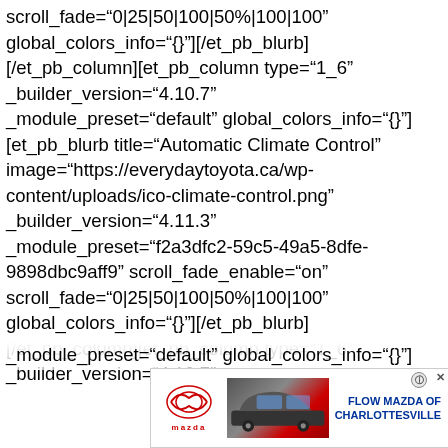scroll_fade="0|25|50|100|50%|100|100" global_colors_info="{}"][/et_pb_blurb] [/et_pb_column][et_pb_column type="1_6" _builder_version="4.10.7" _module_preset="default" global_colors_info="{}"] [et_pb_blurb title="Automatic Climate Control" image="https://everydaytoyota.ca/wp-content/uploads/ico-climate-control.png" _builder_version="4.11.3" _module_preset="f2a3dfc2-59c5-49a5-8dfe-9898dbc9aff9" scroll_fade_enable="on" scroll_fade="0|25|50|100|50%|100|100" global_colors_info="{}"][/et_pb_blurb] [/et_pb_column][et_pb_column type="1_6" _builder_version="4.10.7" _module_preset="default" global_colors_info="{}"]
[Figure (other): Advertisement banner for Flow Mazda of Charlottesville featuring Mazda logo and car image]